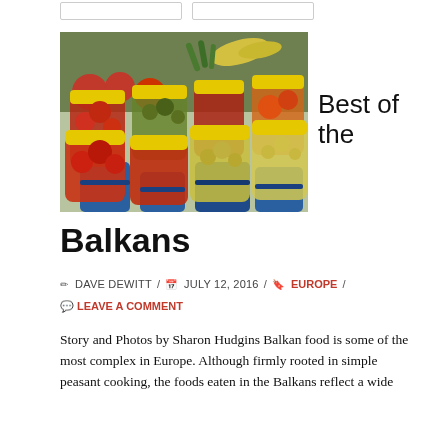[Figure (photo): Large jars of pickled vegetables with yellow lids sitting on blue barrels at a market, with fresh produce visible in the background.]
Best of the
Balkans
✏ DAVE DEWITT / 📅 JULY 12, 2016 / 🔖 EUROPE / 💬 LEAVE A COMMENT
Story and Photos by Sharon Hudgins Balkan food is some of the most complex in Europe. Although firmly rooted in simple peasant cooking, the foods eaten in the Balkans reflect a wide